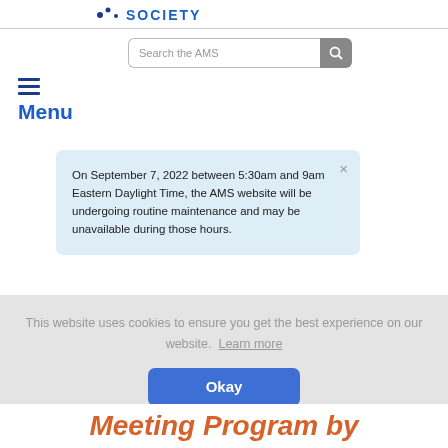AMS logo / header area
Search the AMS
Menu
On September 7, 2022 between 5:30am and 9am Eastern Daylight Time, the AMS website will be undergoing routine maintenance and may be unavailable during those hours.
This website uses cookies to ensure you get the best experience on our website. Learn more
Okay
Meeting Program by